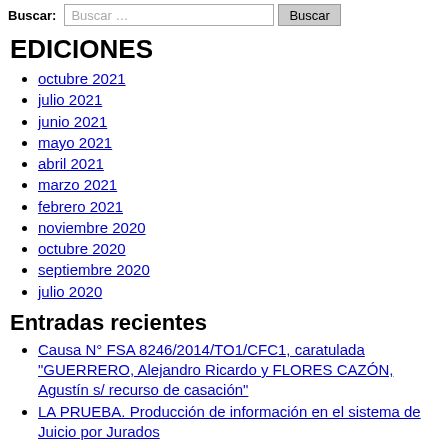Buscar: Buscar ... [Buscar]
EDICIONES
octubre 2021
julio 2021
junio 2021
mayo 2021
abril 2021
marzo 2021
febrero 2021
noviembre 2020
octubre 2020
septiembre 2020
julio 2020
Entradas recientes
Causa N° FSA 8246/2014/TO1/CFC1, caratulada "GUERRERO, Alejandro Ricardo y FLORES CAZÓN, Agustín s/ recurso de casación"
LA PRUEBA. Producción de información en el sistema de Juicio por Jurados